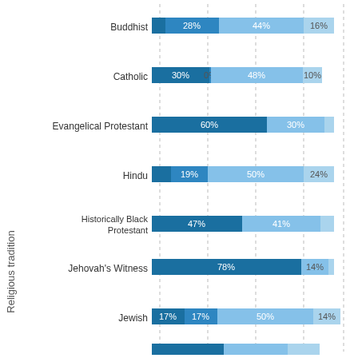[Figure (stacked-bar-chart): Religious tradition]